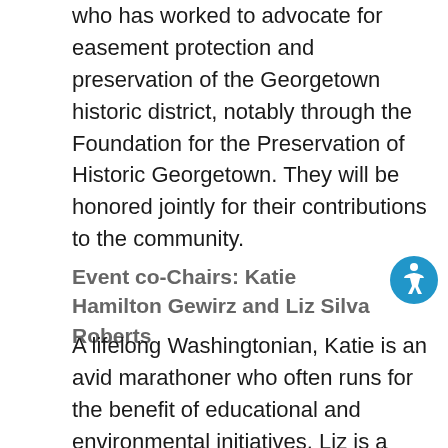who has worked to advocate for easement protection and preservation of the Georgetown historic district, notably through the Foundation for the Preservation of Historic Georgetown. They will be honored jointly for their contributions to the community.
Event co-Chairs: Katie Hamilton Gewirz and Liz Silva Roberts
A lifelong Washingtonian, Katie is an avid marathoner who often runs for the benefit of educational and environmental initiatives. Liz is a Partner with Hogan & Hartson, advising public and private clients on corporate and commercial investments and transactions